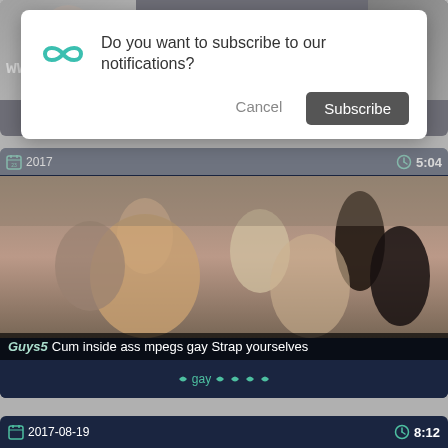[Figure (screenshot): Partial video thumbnail at top with 'www' text visible on dark blue card background]
[Figure (screenshot): Browser notification dialog overlay asking 'Do you want to subscribe to our notifications?' with Cancel and Subscribe buttons, and a teal infinity/loop icon]
Do you want to subscribe to our notifications?
Cancel
Subscribe
[Figure (photo): Video thumbnail showing people in a crowded venue/party scene]
2017
5:04
Cum inside ass mpegs gay Strap yourselves
gay
2017-08-19
8:12